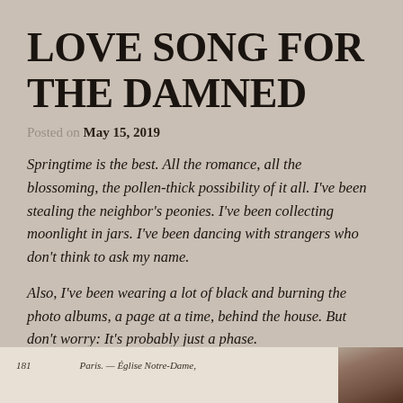LOVE SONG FOR THE DAMNED
Posted on May 15, 2019
Springtime is the best. All the romance, all the blossoming, the pollen-thick possibility of it all. I've been stealing the neighbor's peonies. I've been collecting moonlight in jars. I've been dancing with strangers who don't think to ask my name.
Also, I've been wearing a lot of black and burning the photo albums, a page at a time, behind the house. But don't worry: It's probably just a phase.
[Figure (photo): Partial view of an old vintage postcard or book page showing text 'Paris. — Église Notre-Dame,' and a page number '181', with a vintage photograph on the right side.]